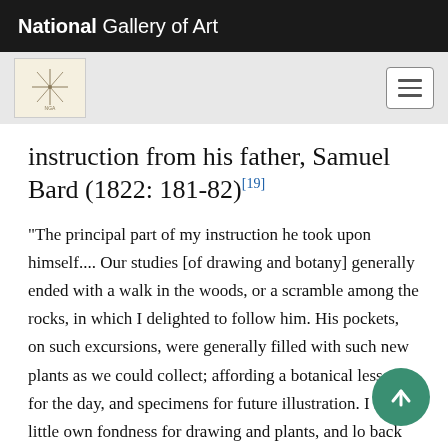National Gallery of Art
instruction from his father, Samuel Bard (1822: 181-82)[19]
"The principal part of my instruction he took upon himself.... Our studies [of drawing and botany] generally ended with a walk in the woods, or a scramble among the rocks, in which I delighted to follow him. His pockets, on such excursions, were generally filled with such new plants as we could collect; affording a botanical lesson for the day, and specimens for future illustration. I had a little own fondness for drawing and plants, and lo back with delight on the pleasure and employment